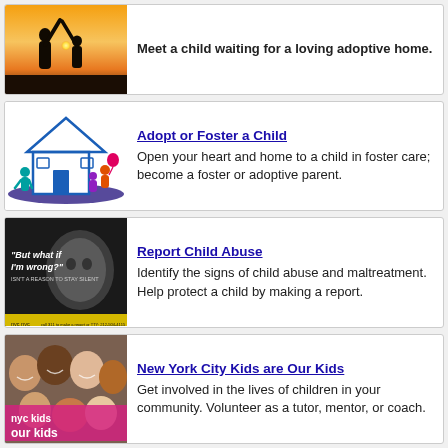[Figure (photo): Silhouette of a child holding hands with an adult against a sunset background]
Meet a child waiting for a loving adoptive home.
[Figure (illustration): Illustration of a house with a family, blue house outline with colorful children figures]
Adopt or Foster a Child
Open your heart and home to a child in foster care; become a foster or adoptive parent.
[Figure (photo): Black and white photo of a child with text 'But what if I'm wrong?' on a dark background — NYC child abuse awareness campaign poster]
Report Child Abuse
Identify the signs of child abuse and maltreatment. Help protect a child by making a report.
[Figure (photo): Photo of diverse smiling children with pink overlay text reading 'nyc kids our kids']
New York City Kids are Our Kids
Get involved in the lives of children in your community. Volunteer as a tutor, mentor, or coach.